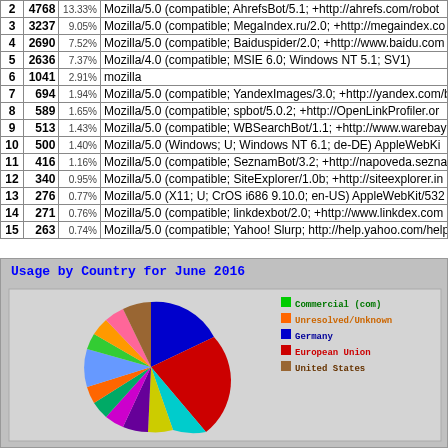| # | Count | % | User Agent |
| --- | --- | --- | --- |
| 2 | 4768 | 13.33% | Mozilla/5.0 (compatible; AhrefsBot/5.1; +http://ahrefs.com/robot |
| 3 | 3237 | 9.05% | Mozilla/5.0 (compatible; MegaIndex.ru/2.0; +http://megaindex.co |
| 4 | 2690 | 7.52% | Mozilla/5.0 (compatible; Baiduspider/2.0; +http://www.baidu.com |
| 5 | 2636 | 7.37% | Mozilla/4.0 (compatible; MSIE 6.0; Windows NT 5.1; SV1) |
| 6 | 1041 | 2.91% | mozilla |
| 7 | 694 | 1.94% | Mozilla/5.0 (compatible; YandexImages/3.0; +http://yandex.com/b |
| 8 | 589 | 1.65% | Mozilla/5.0 (compatible; spbot/5.0.2; +http://OpenLinkProfiler.or |
| 9 | 513 | 1.43% | Mozilla/5.0 (compatible; WBSearchBot/1.1; +http://www.warebay |
| 10 | 500 | 1.40% | Mozilla/5.0 (Windows; U; Windows NT 6.1; de-DE) AppleWebKi |
| 11 | 416 | 1.16% | Mozilla/5.0 (compatible; SeznamBot/3.2; +http://napoveda.seznam |
| 12 | 340 | 0.95% | Mozilla/5.0 (compatible; SiteExplorer/1.0b; +http://siteexplorer.in |
| 13 | 276 | 0.77% | Mozilla/5.0 (X11; U; CrOS i686 9.10.0; en-US) AppleWebKit/532 |
| 14 | 271 | 0.76% | Mozilla/5.0 (compatible; linkdexbot/2.0; +http://www.linkdex.com |
| 15 | 263 | 0.74% | Mozilla/5.0 (compatible; Yahoo! Slurp; http://help.yahoo.com/help |
[Figure (pie-chart): Pie chart showing usage by country for June 2016 with legend entries: Commercial (com), Unresolved/Unknown, Germany, European Union, and others]